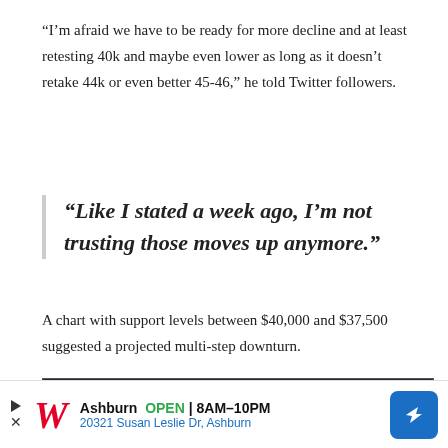“I’m afraid we have to be ready for more decline and at least retesting 40k and maybe even lower as long as it doesn’t retake 44k or even better 45-46,” he told Twitter followers.
“Like I stated a week ago, I’m not trusting those moves up anymore.”
A chart with support levels between $40,000 and $37,500 suggested a projected multi-step downturn.
[Figure (screenshot): Dark-themed trading chart screenshot showing Bitcoin price action with candlesticks on a dark background, partial view]
[Figure (infographic): Walgreens advertisement banner: Ashburn OPEN 8AM-10PM, 20321 Susan Leslie Dr, Ashburn, with Walgreens cursive logo and blue navigation arrow icon]